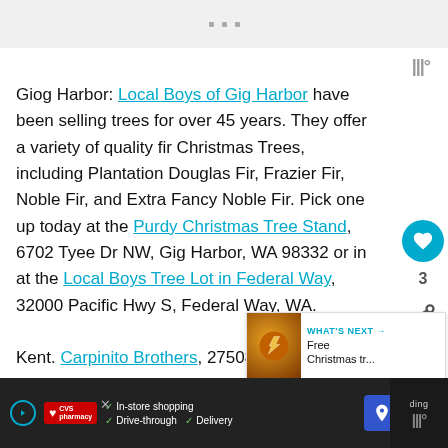Giog Harbor: Local Boys of Gig Harbor have been selling trees for over 45 years. They offer a variety of quality fir Christmas Trees, including Plantation Douglas Fir, Frazier Fir, Noble Fir, and Extra Fancy Noble Fir. Pick one up today at the Purdy Christmas Tree Stand, 6702 Tyee Dr NW, Gig Harbor, WA 98332 or in at the Local Boys Tree Lot in Federal Way, 32000 Pacific Hwy S, Federal Way, WA.
Kent. Carpinito Brothers, 27508 W Valley Hwy N, Kent, WA 98032. Open daily 9am-6pm.
[Figure (other): WHAT'S NEXT arrow promo box with Christmas tree image thumbnail and text 'Free Christmas tr...']
[Figure (other): CVS Pharmacy advertisement banner: In-store shopping, Drive-through, Delivery]